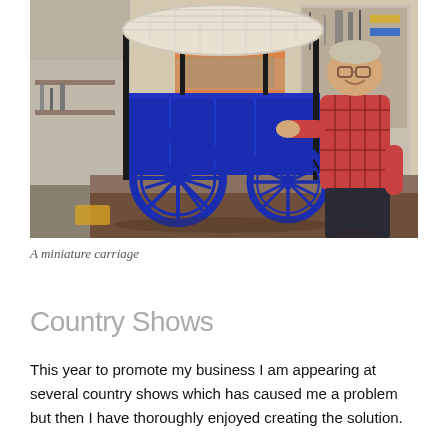[Figure (photo): A man in a red plaid shirt posing next to a miniature blue carriage with spoke wheels and a wicker canopy top, inside a workshop with tools and materials on the walls and shelves in the background.]
A miniature carriage
Country Shows
This year to promote my business I am appearing at several country shows which has caused me a problem but then I have thoroughly enjoyed creating the solution.